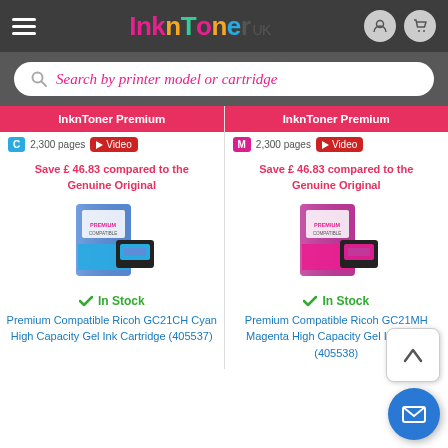InknToner UK
Search by printer model or cartridge
InknToner Premium
C 2,300 pages  Video
Save £ 46.83 compared to the Genuine Original
[Figure (photo): Premium Compatible Ricoh GC21CH Cyan High Capacity Gel Ink Cartridge product image with box and cartridge]
In Stock
Premium Compatible Ricoh GC21CH Cyan High Capacity Gel Ink Cartridge (405537)
InknToner Premium
M 2,300 pages  Video
Save £ 46.83 compared to the Genuine Original
[Figure (photo): Premium Compatible Ricoh GC21MH Magenta High Capacity Gel Ink Cartridge product image with box and cartridge]
In Stock
Premium Compatible Ricoh GC21MH Magenta High Capacity Gel Ink Cartridge (405538)